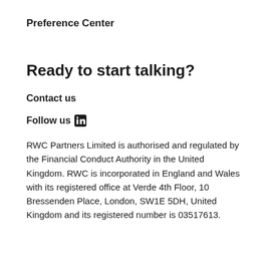Preference Center
Ready to start talking?
Contact us
Follow us
RWC Partners Limited is authorised and regulated by the Financial Conduct Authority in the United Kingdom. RWC is incorporated in England and Wales with its registered office at Verde 4th Floor, 10 Bressenden Place, London, SW1E 5DH, United Kingdom and its registered number is 03517613.